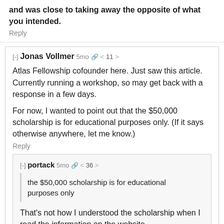and was close to taking away the opposite of what you intended.
Reply
[-] Jonas Vollmer  5mo  < 11 >
Atlas Fellowship cofounder here. Just saw this article. Currently running a workshop, so may get back with a response in a few days.

For now, I wanted to point out that the $50,000 scholarship is for educational purposes only. (If it says otherwise anywhere, let me know.)
Reply
[-] portack  5mo  < 36 >
the $50,000 scholarship is for educational purposes only
That's not how I understood the scholarship when I read the information on the website.